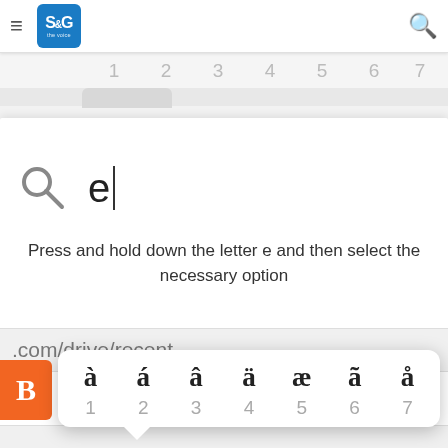[Figure (screenshot): Mobile app navigation bar with hamburger menu, S&G logo, and search icon]
[Figure (screenshot): Ruler strip showing numbers 1 through 7]
[Figure (screenshot): Search bar with letter 'e' and cursor]
Press and hold down the letter e and then select the necessary option
[Figure (screenshot): Browser address bar showing .com/drive/recent]
[Figure (screenshot): Character picker popup showing accented 'a' variants: à á â ä æ ã å with numbers 1-7]